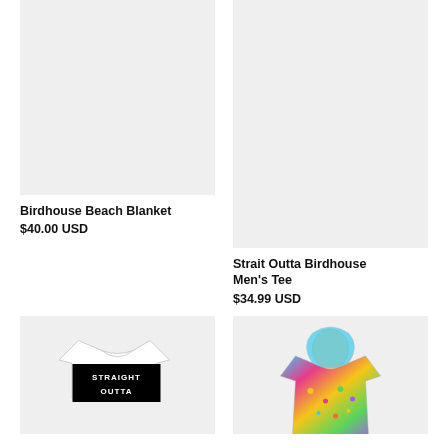[Figure (photo): Product image placeholder for Birdhouse Beach Blanket, light gray background]
Birdhouse Beach Blanket
$40.00 USD
[Figure (photo): Product image placeholder for Strait Outta Birdhouse Men's Tee, light gray background]
Strait Outta Birdhouse Men's Tee
$34.99 USD
[Figure (photo): Product image of a white t-shirt with STRAIGHT OUTTA text in bold black block letters]
[Figure (photo): Product image of a colorful hoodie with graffiti-style multicolor design]